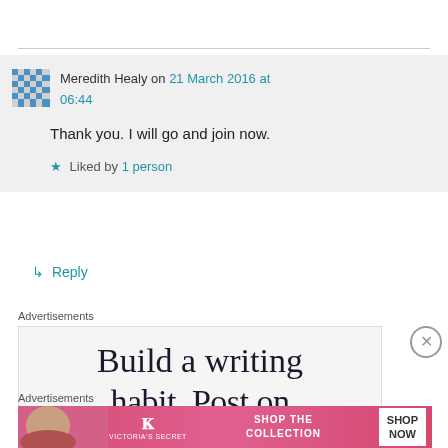Meredith Healy on 21 March 2016 at 06:44
Thank you. I will go and join now.
Liked by 1 person
Reply
Advertisements
[Figure (other): Advertisement: Build a writing habit. Post on... with large serif text on light background]
Advertisements
[Figure (other): Victoria's Secret advertisement banner: Shop the Collection, Shop Now button, pink background with model photo]